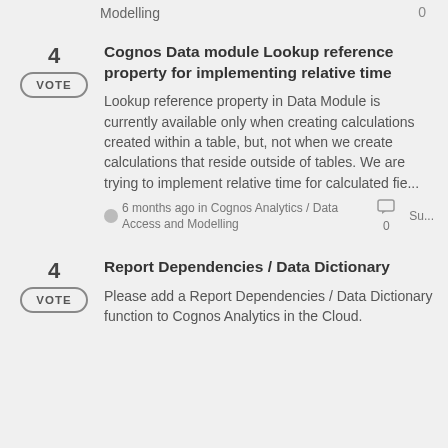Modelling    0
4 VOTE — Cognos Data module Lookup reference property for implementing relative time — Lookup reference property in Data Module is currently available only when creating calculations created within a table, but, not when we create calculations that reside outside of tables. We are trying to implement relative time for calculated fie... — 6 months ago in Cognos Analytics / Data Access and Modelling — 0 — Su...
4 VOTE — Report Dependencies / Data Dictionary — Please add a Report Dependencies / Data Dictionary function to Cognos Analytics in the Cloud.